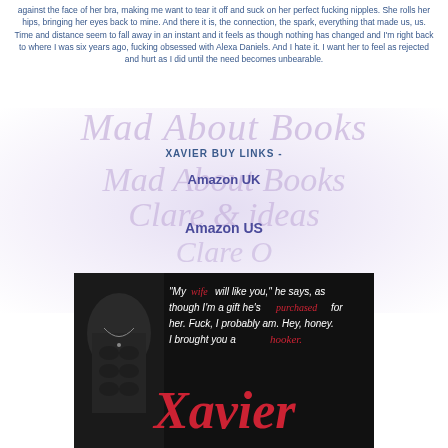against the face of her bra, making me want to tear it off and suck on her perfect fucking nipples. She rolls her hips, bringing her eyes back to mine. And there it is, the connection, the spark, everything that made us, us. Time and distance seem to fall away in an instant and it feels as though nothing has changed and I'm right back to where I was six years ago, fucking obsessed with Alexa Daniels. And I hate it. I want her to feel as rejected and hurt as I did until the need becomes unbearable.
[Figure (illustration): Watermark/background image with 'Mad About Books' script text repeated and decorative purple/lavender splash background with book imagery]
XAVIER BUY LINKS -
Amazon UK
Amazon US
[Figure (photo): Dark book promotional image showing a shirtless male torso on the left, with white and red text quote: '"My wife will like you," he says, as though I'm a gift he's purchased for her. Fuck, I probably am. Hey, honey. I brought you a hooker.' with 'Xavier' in large red script at the bottom]